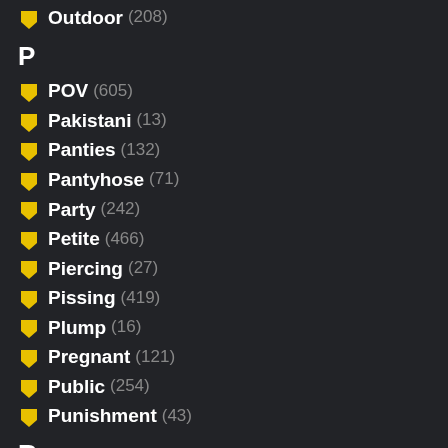Outdoor (208)
P
POV (605)
Pakistani (13)
Panties (132)
Pantyhose (71)
Party (242)
Petite (466)
Piercing (27)
Pissing (419)
Plump (16)
Pregnant (121)
Public (254)
Punishment (43)
R
Reality (113)
Redhead (270)
Riding (170)